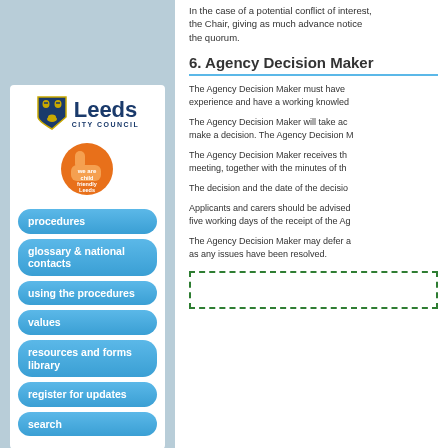In the case of a potential conflict of interest, the Chair, giving as much advance notice as possible, the quorum.
6. Agency Decision Maker
The Agency Decision Maker must have experience and have a working knowledge
The Agency Decision Maker will take ac make a decision. The Agency Decision M
The Agency Decision Maker receives th meeting, together with the minutes of th
The decision and the date of the decisio
Applicants and carers should be advised five working days of the receipt of the Ag
The Agency Decision Maker may defer a as any issues have been resolved.
[Figure (logo): Leeds City Council logo with shield icon and Leeds name]
[Figure (illustration): Child Friendly Leeds thumbs up orange logo]
procedures
glossary & national contacts
using the procedures
values
resources and forms library
register for updates
search